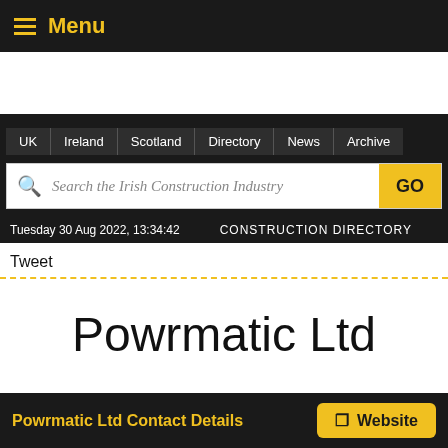Menu
[Figure (screenshot): Dark advertisement/banner area]
UK | Ireland | Scotland | Directory | News | Archive
Search the Irish Construction Industry  GO
Tuesday 30 Aug 2022, 13:34:42   CONSTRUCTION DIRECTORY
Tweet
Powrmatic Ltd
Powrmatic Ltd Contact Details   Website